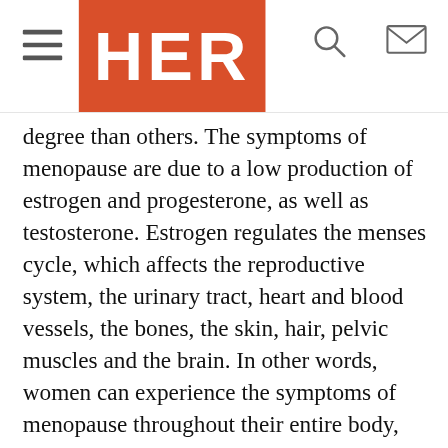HER (logo header with hamburger menu, search and mail icons)
degree than others. The symptoms of menopause are due to a low production of estrogen and progesterone, as well as testosterone. Estrogen regulates the menses cycle, which affects the reproductive system, the urinary tract, heart and blood vessels, the bones, the skin, hair, pelvic muscles and the brain. In other words, women can experience the symptoms of menopause throughout their entire body, from head to toe. Some common symptoms of menopause can include the following:
Irregular Periods:
During menopause, many woman will experience short absence of irregular periods. Hormone imbalance, causes skipped periods and spotting in between what were once regular cycles. The culprits are decreased levels of estrogen and progesterone
THIS ARTICLE
We use cookies to provide you with the best experience on our site. If you continue using EmpowHER we will assume that you are happy to receive cookies. Learn more
Got it!
SAVED MY LIFE